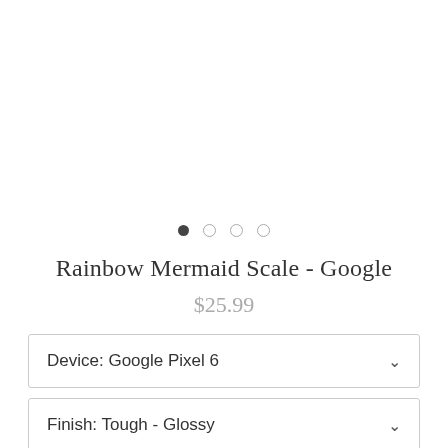[Figure (other): Product image area (blank/white, image not visible in this crop)]
Rainbow Mermaid Scale - Google
$25.99
Device: Google Pixel 6
Finish: Tough - Glossy